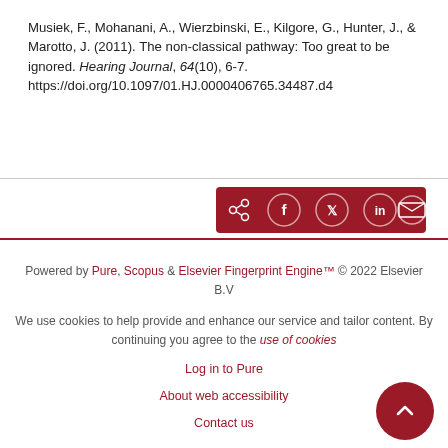Musiek, F., Mohanani, A., Wierzbinski, E., Kilgore, G., Hunter, J., & Marotto, J. (2011). The non-classical pathway: Too great to be ignored. Hearing Journal, 64(10), 6-7. https://doi.org/10.1097/01.HJ.0000406765.34487.d4
[Figure (other): Social share button bar with dark red background containing share, Facebook, Twitter, LinkedIn, and email icons]
Powered by Pure, Scopus & Elsevier Fingerprint Engine™ © 2022 Elsevier B.V

We use cookies to help provide and enhance our service and tailor content. By continuing you agree to the use of cookies

Log in to Pure

About web accessibility

Contact us